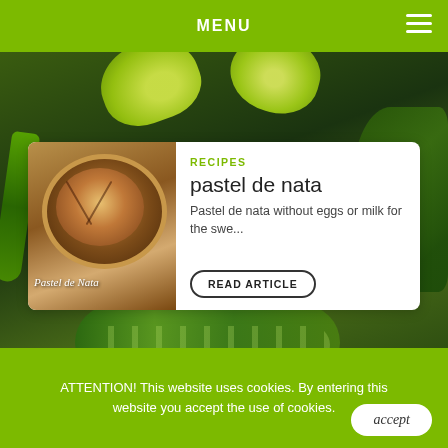MENU
[Figure (photo): Hero image showing green vegetables (zucchini, peppers, spinach) and lime slices on a dark background, with an article card overlay about pastel de nata]
RECIPES
pastel de nata
Pastel de nata without eggs or milk for the swe...
READ ARTICLE
join us
subscribe our newsletter
ATTENTION! This website uses cookies. By entering this website you accept the use of cookies.